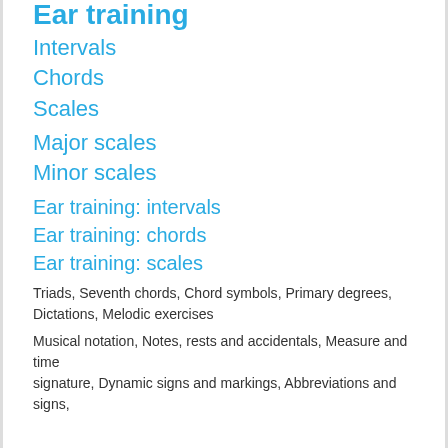Ear training
Intervals
Chords
Scales
Major scales
Minor scales
Ear training: intervals
Ear training: chords
Ear training: scales
Triads, Seventh chords, Chord symbols, Primary degrees, Dictations, Melodic exercises
Musical notation, Notes, rests and accidentals, Measure and time signature, Dynamic signs and markings, Abbreviations and signs,